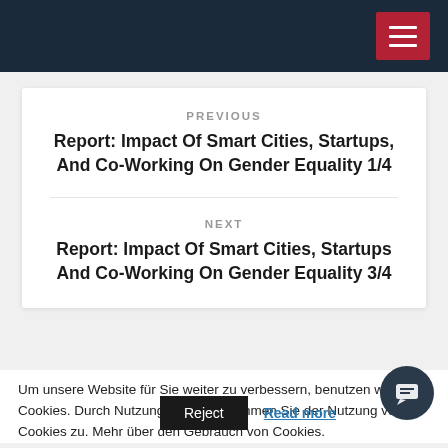Navigation header with hamburger menu
PREVIOUS
Report: Impact Of Smart Cities, Startups, And Co-Working On Gender Equality 1/4
NEXT
Report: Impact Of Smart Cities, Startups And Co-Working On Gender Equality 3/4
Um unsere Website für Sie weiter zu verbessern, benutzen wir Cookies. Durch Nutzung der Seite stimmen Sie der Nutzung von Cookies zu. Mehr über den Gebrauch von Cookies.
eCommerce - Reject | Read more